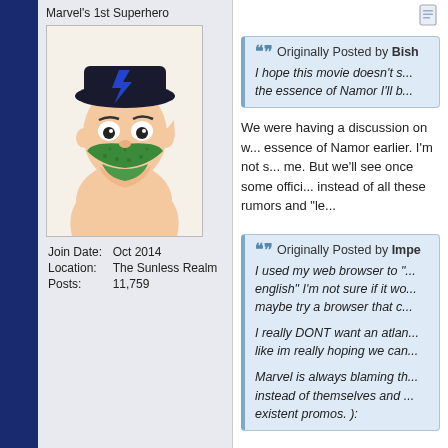Marvel's 1st Superhero
[Figure (illustration): Comic-style avatar of a superhero character wearing a green mask/lower face covering and a dark hat with a lightning bolt symbol, shirtless, in a cartoon style.]
Join Date: Oct 2014
Location: The Sunless Realm
Posts: 11,759
[Figure (screenshot): Document/page icon at top right of right panel]
Originally Posted by Bish... I hope this movie doesn't s... the essence of Namor I'll b...
We were having a discussion on w... essence of Namor earlier. I'm not s... me. But we'll see once some offici... instead of all these rumors and "le...
Originally Posted by Impe... I used my web browser to "... english" I'm not sure if it wo... maybe try a browser that c...

I really DONT want an atlan... like im really hoping we can...

Marvel is always blaming th... instead of themselves and ... existent promos. ):